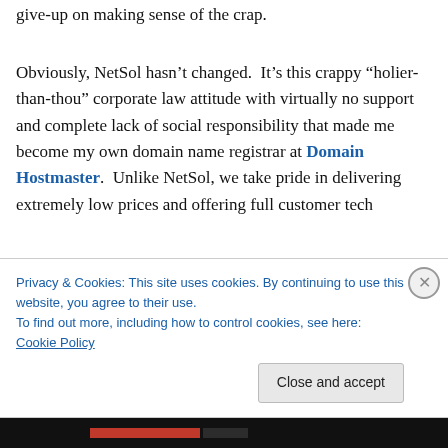give-up on making sense of the crap.
Obviously, NetSol hasn’t changed.  It’s this crappy “holier-than-thou” corporate law attitude with virtually no support and complete lack of social responsibility that made me become my own domain name registrar at Domain Hostmaster.  Unlike NetSol, we take pride in delivering extremely low prices and offering full customer tech
Privacy & Cookies: This site uses cookies. By continuing to use this website, you agree to their use.
To find out more, including how to control cookies, see here: Cookie Policy
Close and accept